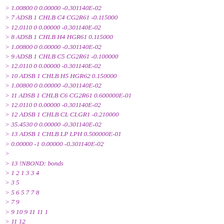> 1.00800 0 0.00000 -0.301140E-02
> 7 ADSB 1 CHLB C4 CG2R61 -0.115000
> 12.0110 0 0.00000 -0.301140E-02
> 8 ADSB 1 CHLB H4 HGR61 0.115000
> 1.00800 0 0.00000 -0.301140E-02
> 9 ADSB 1 CHLB C5 CG2R61 -0.100000
> 12.0110 0 0.00000 -0.301140E-02
> 10 ADSB 1 CHLB H5 HGR62 0.150000
> 1.00800 0 0.00000 -0.301140E-02
> 11 ADSB 1 CHLB C6 CG2R61 0.600000E-01
> 12.0110 0 0.00000 -0.301140E-02
> 12 ADSB 1 CHLB CL CLGR1 -0.210000
> 35.4530 0 0.00000 -0.301140E-02
> 13 ADSB 1 CHLB LP LPH 0.500000E-01
> 0.00000 -1 0.00000 -0.301140E-02
>
> 13 !NBOND: bonds
> 1 2 1 3 3 4
> 3 5
> 5 6 5 7 7 8
> 7 9
> 9 10 9 11 11 1
> 11 12
> 12 13
>